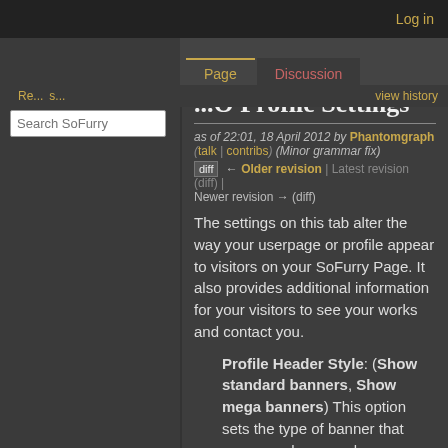Log in
[Figure (logo): SoFurry pixel art squirrel logo in orange and black]
Page | Discussion | Re... | s... | view history
...O Profile Settings
as of 22:01, 18 April 2012 by Phantomgraph (talk | contribs) (Minor grammar fix)
diff ← Older revision | Latest revision (diff) | Newer revision → (diff)
The settings on this tab alter the way your userpage or profile appear to visitors on your SoFurry Page. It also provides additional information for your visitors to see your works and contact you.
Profile Header Style: (Show standard banners, Show mega banners) This option sets the type of banner that appears when people
Search SoFurry
Main page
Recent changes
Random page
Help about MediaWiki
Tools
What links here
Related changes
Special pages
Printable version
Permanent link
Page information